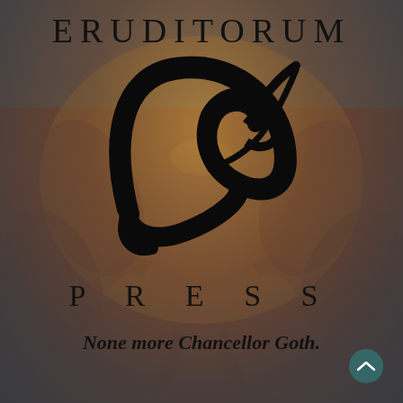ERUDITORUM
[Figure (logo): Eruditorum Press stylized calligraphic logo — a large swooping 'e' with 'p' letterform in black ink on a muted painterly background depicting a Blake-style figure]
PRESS
None more Chancellor Goth.